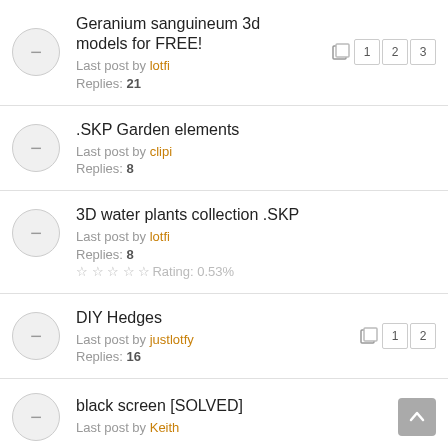Geranium sanguineum 3d models for FREE! Last post by lotfi Replies: 21
.SKP Garden elements Last post by clipi Replies: 8
3D water plants collection .SKP Last post by lotfi Replies: 8 Rating: 0.53%
DIY Hedges Last post by justlotfy Replies: 16
black screen [SOLVED] Last post by Keith